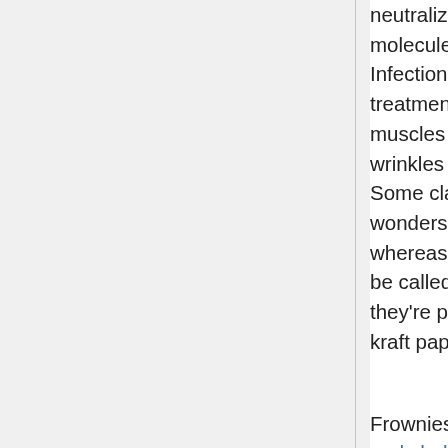neutralizing free radicals -- oxygen molecules that destroy skin cells. Infections. Botox is another injectable treatment, which briefly paralyzes the muscles on the forehead the place wrinkles type. Reviews are blended. Some claim that Frownies work wonders and are "higher than Botox" whereas others say that they ought to be called "no-Workies" as a result of they're principally simply overpriced kraft paper and glue.
Frownies' manufacturer claims that the pads hold the pores and skin smooth and retrain the muscles. A laser directed at specific areas on the face destroys the highest layer of pores and skin and